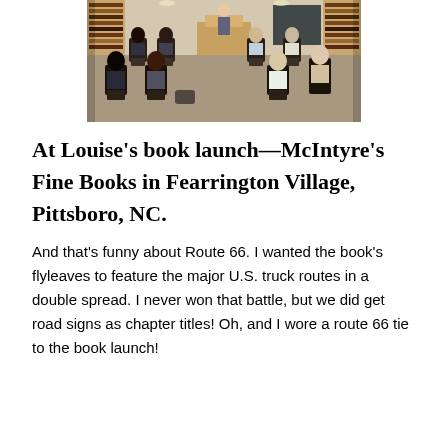[Figure (photo): Interior of a bookstore with people seated in chairs facing a speaker at a podium. Bookshelves visible in the background.]
At Louise's book launch—McIntyre's Fine Books in Fearrington Village, Pittsboro, NC.
And that's funny about Route 66. I wanted the book's flyleaves to feature the major U.S. truck routes in a double spread. I never won that battle, but we did get road signs as chapter titles! Oh, and I wore a route 66 tie to the book launch!